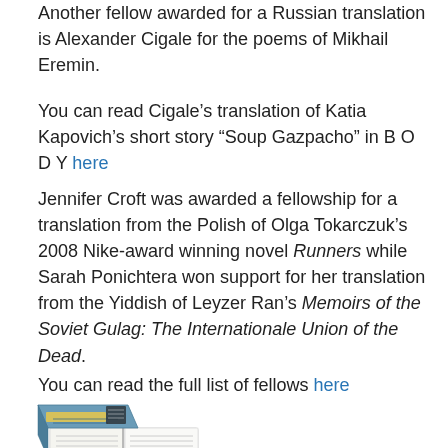Another fellow awarded for a Russian translation is Alexander Cigale for the poems of Mikhail Eremin.
You can read Cigale’s translation of Katia Kapovich’s short story “Soup Gazpacho” in B O D Y here
Jennifer Croft was awarded a fellowship for a translation from the Polish of Olga Tokarczuk’s 2008 Nike-award winning novel Runners while Sarah Ponichtera won support for her translation from the Yiddish of Leyzer Ran’s Memoirs of the Soviet Gulag: The Internationale Union of the Dead.
You can read the full list of fellows here
[Figure (photo): Photo of stacked books, showing a blue-covered book on top of an open book with text columns visible.]